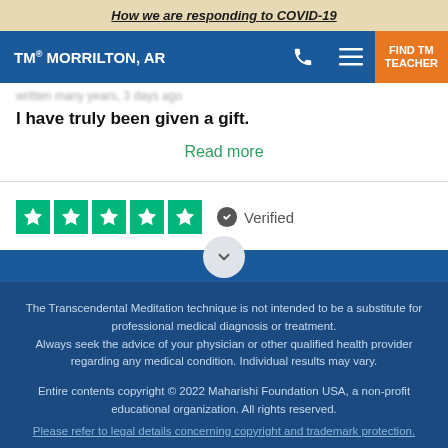How we are responding to COVID-19
TM® MORRILTON, AR
I have truly been given a gift.
Read more
[Figure (other): Five green Trustpilot star rating boxes with white stars, followed by a verified badge with checkmark icon and text 'Verified']
The Transcendental Meditation technique is not intended to be a substitute for professional medical diagnosis or treatment. Always seek the advice of your physician or other qualified health provider regarding any medical condition. Individual results may vary.
Entire contents copyright © 2022 Maharishi Foundation USA, a non-profit educational organization. All rights reserved.
Please refer to legal details concerning copyright and trademark protection.
Sitemap | About Maharishi Foundation USA | Login